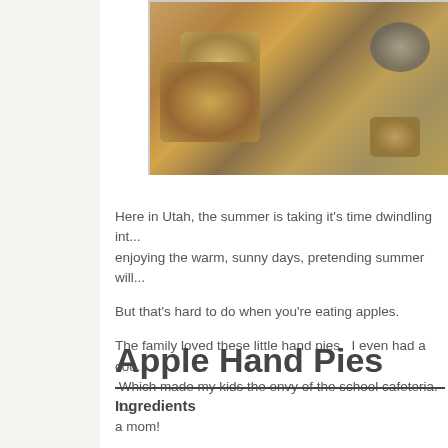[Figure (photo): Close-up photo of apple hand pies on a baking sheet, showing golden-brown pastry with flaky texture and apple filling]
Here in Utah, the summer is taking it's time dwindling int... enjoying the warm, sunny days, pretending summer will...
But that's hard to do when you're eating apples.
The family loved these little hand pies.  I even had a cou... Which made my kids the envy of the school cafeteria.  I... a mom!
Apple Hand Pies
Ingredients